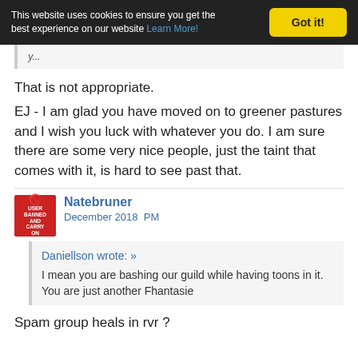This website uses cookies to ensure you get the best experience on our website Learn More! Got it!
That is not appropriate.
EJ - I am glad you have moved on to greener pastures and I wish you luck with whatever you do. I am sure there are some very nice people, just the taint that comes with it, is hard to see past that.
Natebruner
December 2018  PM
Daniellson wrote: »
I mean you are bashing our guild while having toons in it. You are just another Fhantasie
Spam group heals in rvr ?